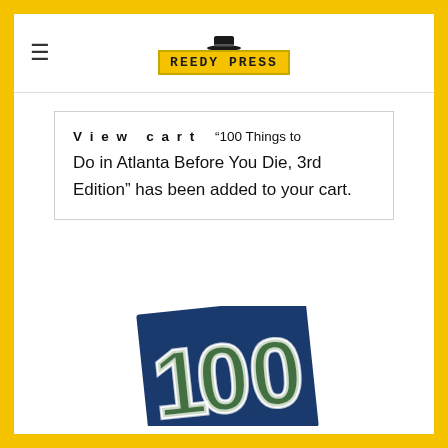[Figure (logo): Reedy Press logo with hat icon above text in yellow bordered box]
View cart   “100 Things to Do in Atlanta Before You Die, 3rd Edition” has been added to your cart.
[Figure (photo): Book cover showing '100 Things to Do in Atlanta Before You Die' with large '100' text over a park scene on a blue background, partially visible]